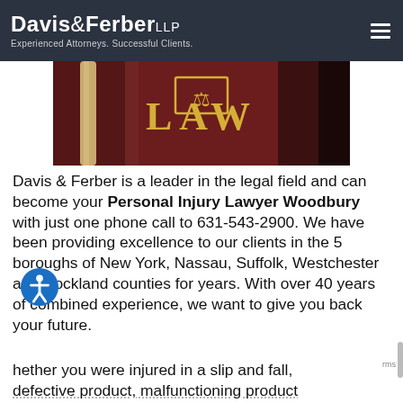Davis & Ferber LLP — Experienced Attorneys. Successful Clients.
[Figure (photo): Close-up of a red law book with gold lettering reading LAW and a legal scale symbol on the cover.]
Davis & Ferber is a leader in the legal field and can become your Personal Injury Lawyer Woodbury with just one phone call to 631-543-2900. We have been providing excellence to our clients in the 5 boroughs of New York, Nassau, Suffolk, Westchester and Rockland counties for years. With over 40 years of combined experience, we want to give you back your future.
hether you were injured in a slip and fall, defective product, malfunctioning product